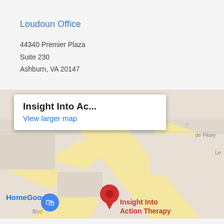Loudoun Office
44340 Premier Plaza
Suite 230
Ashburn, VA 20147
[Figure (map): Google Maps screenshot showing location of Insight Into Action Therapy near HomeGoods in Ashburn, VA. A map popup reads 'Insight Into Ac... View larger map'. A red location pin marks 'Insight Into Action Therapy'. A blue shopping bag icon and 'HomeGoods' label are visible. Roads including 'de Pkwy' and 'Blvd' are shown.]